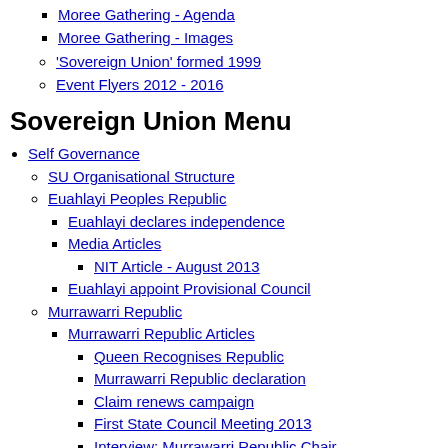Moree Gathering - Agenda
Moree Gathering - Images
'Sovereign Union' formed 1999
Event Flyers 2012 - 2016
Sovereign Union Menu
Self Governance
SU Organisational Structure
Euahlayi Peoples Republic
Euahlayi declares independence
Media Articles
NIT Article - August 2013
Euahlayi appoint Provisional Council
Murrawarri Republic
Murrawarri Republic Articles
Queen Recognises Republic
Murrawarri Republic declaration
Claim renews campaign
First State Council Meeting 2013
Interview: Murrawarri Republic Chair
Murrawarri Media Release June '17
Refused entry to ANZAC march
International Press